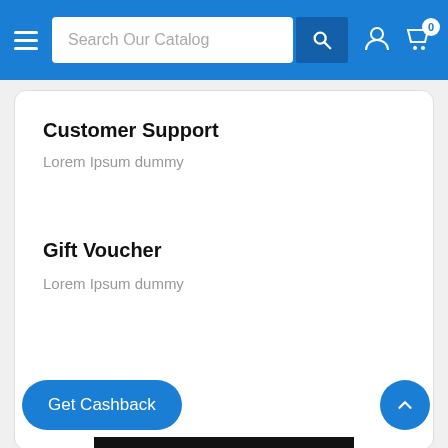Search Our Catalog
Customer Support
Lorem Ipsum dummy
Gift Voucher
Lorem Ipsum dummy
DESCRIPTION
REFUND POLICY
| Set: | Legends |
| --- | --- |
|  | Instant |
Get Cashback